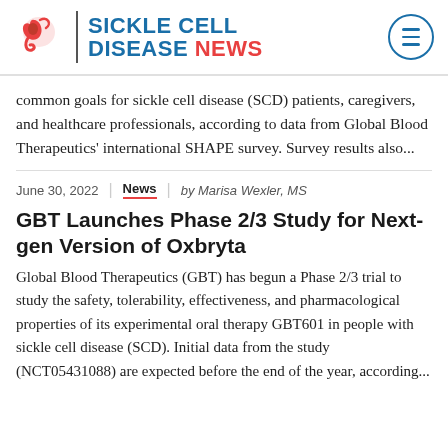[Figure (logo): Sickle Cell Disease News logo with red cell icon, blue text reading SICKLE CELL DISEASE and red text NEWS, plus a circular hamburger menu button on the right]
common goals for sickle cell disease (SCD) patients, caregivers, and healthcare professionals, according to data from Global Blood Therapeutics' international SHAPE survey. Survey results also...
June 30, 2022 | News | by Marisa Wexler, MS
GBT Launches Phase 2/3 Study for Next-gen Version of Oxbryta
Global Blood Therapeutics (GBT) has begun a Phase 2/3 trial to study the safety, tolerability, effectiveness, and pharmacological properties of its experimental oral therapy GBT601 in people with sickle cell disease (SCD). Initial data from the study (NCT05431088) are expected before the end of the year, according...